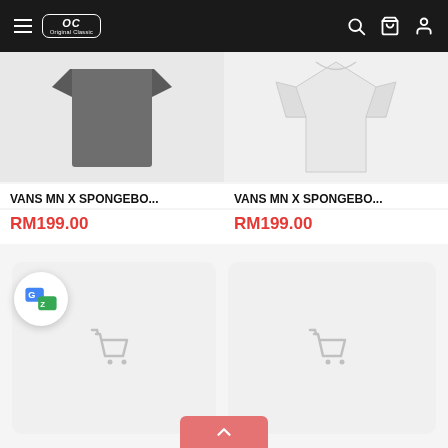OC Original Classic navigation bar with hamburger menu, logo, search, cart, and user icons
[Figure (photo): Grey folded t-shirt product image (VANS MN X SPONGEBO...)]
VANS MN X SPONGEBO...
RM199.00
[Figure (photo): White hoodie product image (VANS MN X SPONGEBO...)]
VANS MN X SPONGEBO...
RM199.00
[Figure (screenshot): Google Translate floating action button overlay]
[Figure (other): Empty product card placeholder with cart icon]
[Figure (other): Empty product card placeholder with cart icon]
[Figure (other): Scroll-to-top button (pink/red upward arrow)]